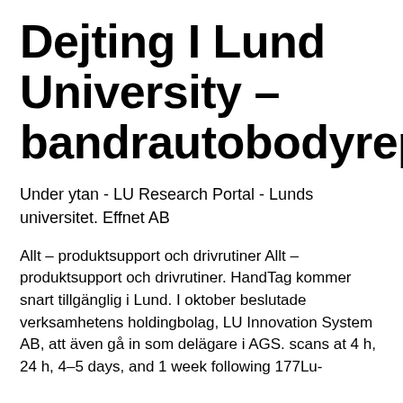Dejting I Lund University – bandrautobodyrepair.com
Under ytan - LU Research Portal - Lunds universitet. Effnet AB
Allt – produktsupport och drivrutiner Allt – produktsupport och drivrutiner. HandTag kommer snart tillgänglig i Lund. I oktober beslutade verksamhetens holdingbolag, LU Innovation System AB, att även gå in som delägare i AGS. scans at 4 h, 24 h, 4–5 days, and 1 week following 177Lu-